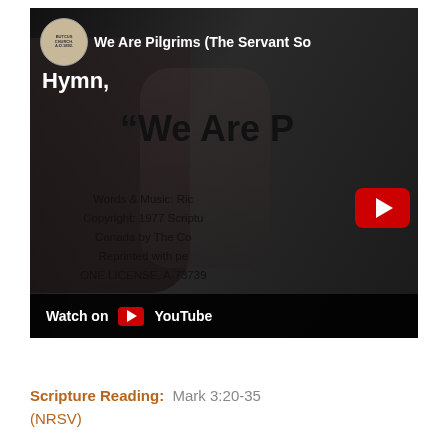[Figure (screenshot): YouTube video thumbnail screenshot showing 'We Are Pilgrims (The Servant So...' with channel logo, hymn text overlay, copyright information, and Watch on YouTube bar at the bottom]
Scripture Reading:  Mark 3:20-35 (NRSV)